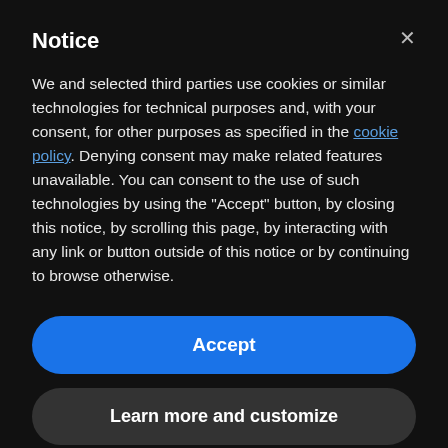Notice
We and selected third parties use cookies or similar technologies for technical purposes and, with your consent, for other purposes as specified in the cookie policy. Denying consent may make related features unavailable. You can consent to the use of such technologies by using the "Accept" button, by closing this notice, by scrolling this page, by interacting with any link or button outside of this notice or by continuing to browse otherwise.
Accept
Learn more and customize
research – where 57% of university biologists are women. Yet women are scarcely involved in the management of the current health crisis. The all-male